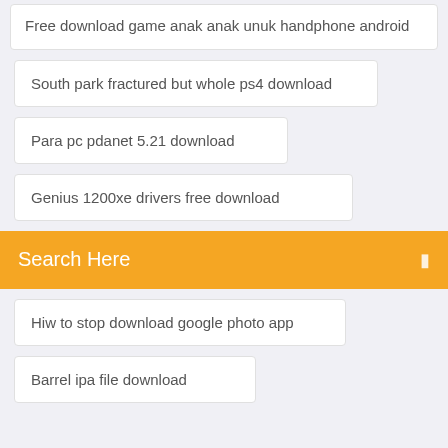Free download game anak anak unuk handphone android
South park fractured but whole ps4 download
Para pc pdanet 5.21 download
Genius 1200xe drivers free download
Search Here
Hiw to stop download google photo app
Barrel ipa file download